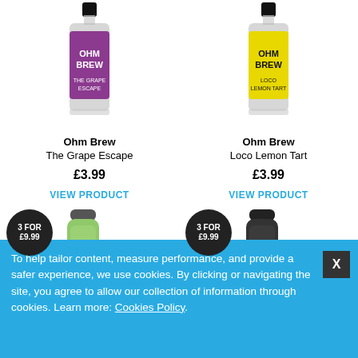[Figure (photo): Ohm Brew The Grape Escape e-liquid bottle with purple label]
Ohm Brew
The Grape Escape
£3.99
VIEW PRODUCT
[Figure (photo): Ohm Brew Loco Lemon Tart e-liquid bottle with yellow label]
Ohm Brew
Loco Lemon Tart
£3.99
VIEW PRODUCT
[Figure (photo): 3 FOR £9.99 badge with green disposable vape product]
[Figure (photo): 3 FOR £9.99 badge with black disposable vape product]
To help tailor content, measure performance, and provide a safer experience, we use cookies. By clicking or navigating the site, you agree to allow our collection of information through cookies. Learn more: Cookies Policy.